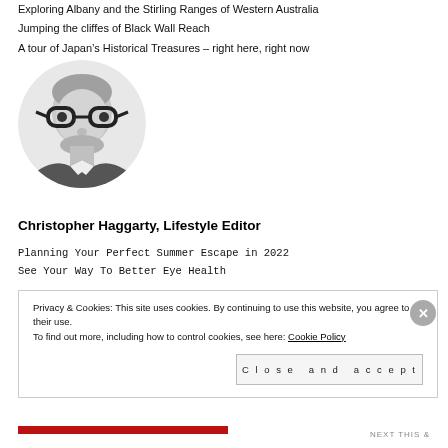Exploring Albany and the Stirling Ranges of Western Australia
Jumping the cliffes of Black Wall Reach
A tour of Japan’s Historical Treasures – right here, right now
[Figure (photo): Black and white circular portrait photo of a man with glasses and beard]
Christopher Haggarty, Lifestyle Editor
Planning Your Perfect Summer Escape in 2022
See Your Way To Better Eye Health
Privacy & Cookies: This site uses cookies. By continuing to use this website, you agree to their use. To find out more, including how to control cookies, see here: Cookie Policy
Close and accept